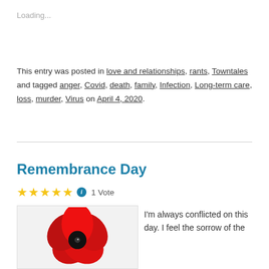Loading...
This entry was posted in love and relationships, rants, Towntales and tagged anger, Covid, death, family, Infection, Long-term care, loss, murder, Virus on April 4, 2020.
Remembrance Day
★★★★★ ℹ 1 Vote
[Figure (photo): A red poppy flower with black center on white background]
I'm always conflicted on this day. I feel the sorrow of the